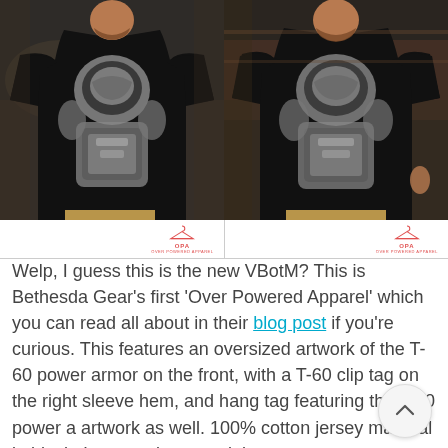[Figure (photo): Two side-by-side photos of a bearded man wearing a black T-shirt featuring oversized T-60 power armor artwork from Bethesda/Fallout. Left photo shows a front-angle view; right photo shows a slightly more frontal view. Both men wear tan/khaki pants. The shirt has a large white graphic print of the power armor helmet and torso.]
[Figure (logo): OPA (Over Powered Apparel) logo with a clothing hanger icon in red/coral color, appearing twice — once below each photo.]
Welp, I guess this is the new VBotM? This is Bethesda Gear's first 'Over Powered Apparel' which you can read all about in their blog post if you're curious. This features an oversized artwork of the T-60 power armor on the front, with a T-60 clip tag on the right sleeve hem, and hang tag featuring the T-60 power armor artwork as well. 100% cotton jersey material in black. It comes in a special